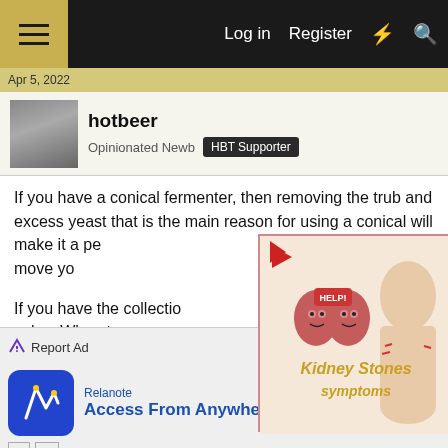Log in  Register
Apr 5, 2022
hotbeer
Opinionated Newb  HBT Supporter
If you have a conical fermenter, then removing the trub and excess yeast that is the main reason for using a conical will make it a perfect vessel. Fining it without even having to move yo
If you have the collection open the valve. When t or 4 days from pitch, the dumping the trub till you get clean beer coming down or maybe just before depending on what makes you feel good about it.
[Figure (screenshot): Popup advertisement overlay showing cartoon kidneys with 'HELP!' sign and a woman with back pain, titled 'Kidney Stones symptoms']
Report Ad
[Figure (screenshot): Bottom banner advertisement for Relanote app - 'Access From Anywhere' with Open button]